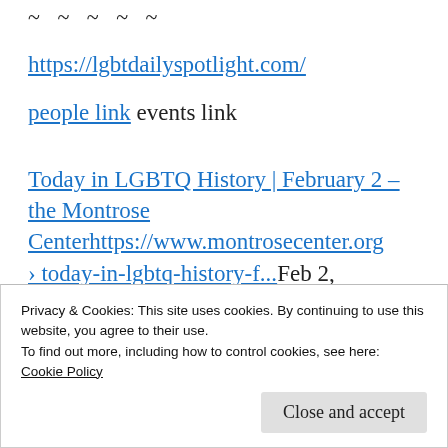~ ~ ~ ~ ~
https://lgbtdailyspotlight.com/
people link events link
Today in LGBTQ History | February 2 – the Montrose Centerhttps://www.montrosecenter.org › today-in-lgbtq-history-f...Feb 2,
Privacy & Cookies: This site uses cookies. By continuing to use this website, you agree to their use.
To find out more, including how to control cookies, see here:
Cookie Policy
Close and accept